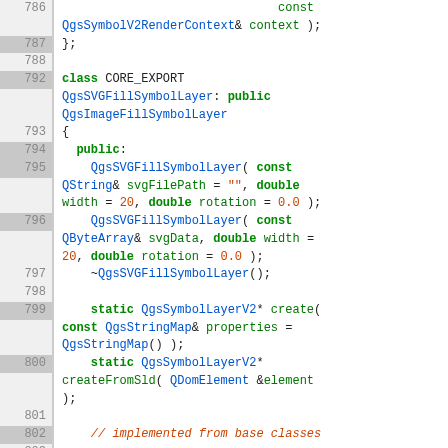[Figure (screenshot): Source code viewer showing C++ class definition for QgsSVGFillSymbolLayer, lines 786-807, with line numbers on left and syntax-highlighted code on right.]